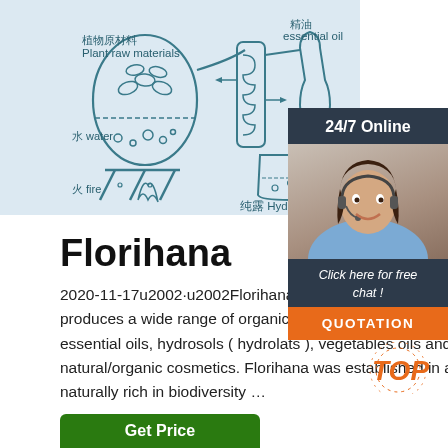[Figure (illustration): Diagram showing steam distillation process with labeled parts in Chinese and English: Plant raw materials (植物原材料), water (水 water), fire (火 fire), essential oil (精油 essential oil), Hydrosol (纯露 Hydrosol). Line drawing on light blue background.]
[Figure (photo): Chat widget with dark header '24/7 Online', photo of smiling woman with headset in customer service role, dark footer text 'Click here for free chat!', orange QUOTATION button.]
Florihana
2020-11-17u2002·u2002Florihana is a family owned company that produces a wide range of organic aromatherapy products such as essential oils, hydrosols ( hydrolats ), vegetables oils and natural/organic cosmetics. Florihana was established in an area naturally rich in biodiversity …
[Figure (other): TOP badge in orange italic text with decorative dots]
Get Price